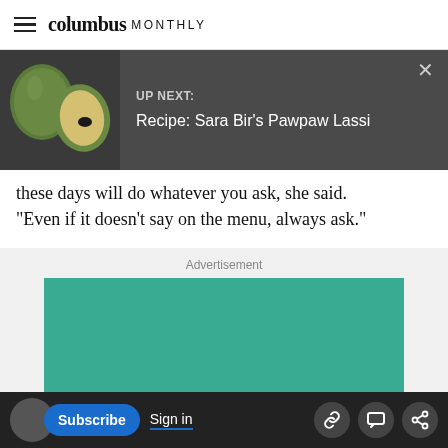columbus MONTHLY
[Figure (screenshot): UP NEXT banner with pawpaw fruit image on left and text 'UP NEXT: Recipe: Sara Bir’s Pawpaw Lassi' on dark grey background with X close button]
these days will do whatever you ask, she said. "Even if it doesn't say on the menu, always ask."
Advertisement
[Figure (other): Teal/green advertisement placeholder box]
Subscribe  Sign in